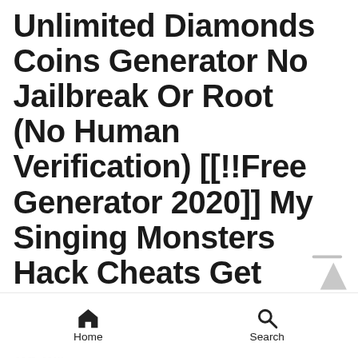Unlimited Diamonds Coins Generator No Jailbreak Or Root (No Human Verification) [[!!Free Generator 2020]] My Singing Monsters Hack Cheats Get Free 999,999 Diamonds Coins Android Ios
My singing monsters mod apk in this post, we will
Home   Search